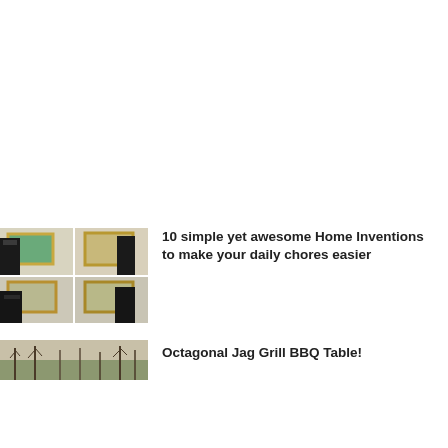[Figure (photo): 2x2 grid of thumbnail photos showing a person interacting with a framed wall display/artwork]
10 simple yet awesome Home Inventions to make your daily chores easier
[Figure (photo): Single thumbnail photo showing bare winter trees in a field landscape]
Octagonal Jag Grill BBQ Table!